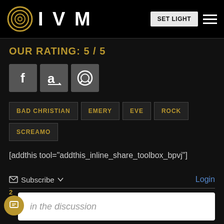IVM
OUR RATING: 5 / 5
[Figure (logo): Social media share icons: Facebook, Amazon, Spotify]
BAD CHRISTIAN
EMERY
EVE
ROCK
SCREAMO
[addthis tool="addthis_inline_share_toolbox_bpvj"]
Subscribe  Login
2  Join the discussion